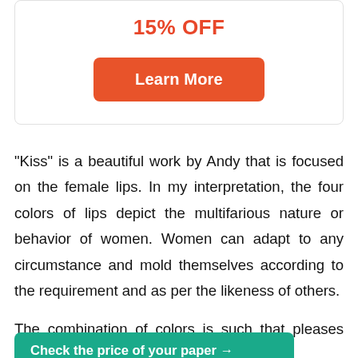15% OFF
[Figure (other): Orange 'Learn More' button]
“Kiss” is a beautiful work by Andy that is focused on the female lips. In my interpretation, the four colors of lips depict the multifarious nature or behavior of women. Women can adapt to any circumstance and mold themselves according to the requirement and as per the likeness of others.
The combination of colors is such that pleases the
[Figure (other): Teal 'Check the price of your paper →' button overlay]